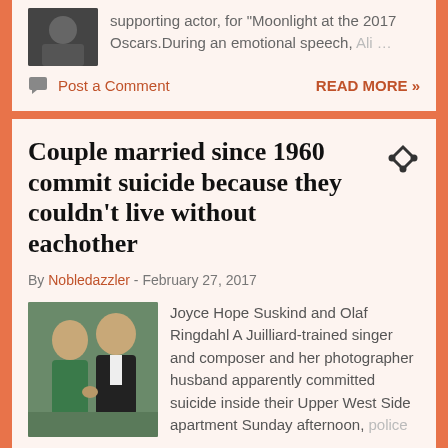supporting actor, for "Moonlight at the 2017 Oscars.During an emotional speech, Ali …
Post a Comment
READ MORE »
Couple married since 1960 commit suicide because they couldn't live without eachother
By Nobledazzler - February 27, 2017
[Figure (photo): Photo of a couple, a woman in green and a man in a tuxedo]
Joyce Hope Suskind and Olaf Ringdahl A Juilliard-trained singer and composer and her photographer husband apparently committed suicide inside their Upper West Side apartment Sunday afternoon, police …